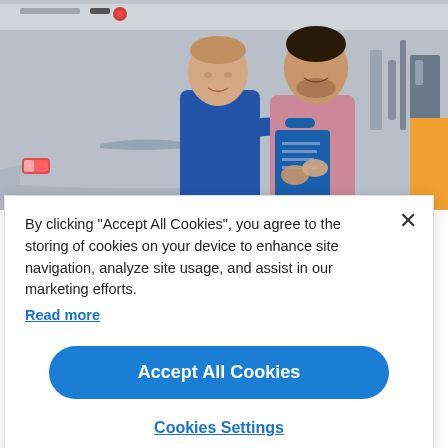[Figure (photo): Two men in an auto repair garage — one in a blue uniform (mechanic) and one in a pink/red check shirt (customer) — looking at a blue clipboard together. A silver car is visible in the background.]
By clicking “Accept All Cookies”, you agree to the storing of cookies on your device to enhance site navigation, analyze site usage, and assist in our marketing efforts.
Read more
Accept All Cookies
Cookies Settings